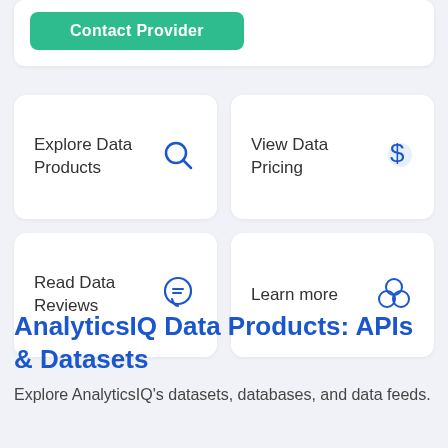[Figure (screenshot): Contact Provider green button at top]
Explore Data Products
View Data Pricing
Read Data Reviews
Learn more
AnalyticsIQ Data Products: APIs & Datasets
Explore AnalyticsIQ's datasets, databases, and data feeds.